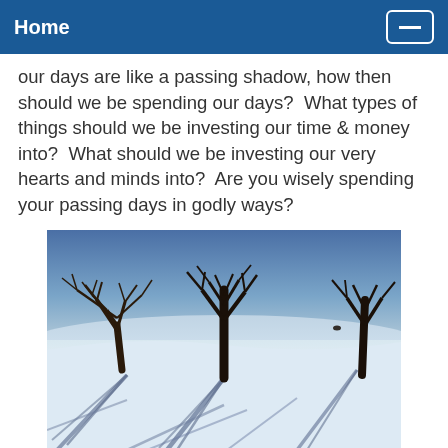Home
our days are like a passing shadow, how then should we be spending our days?  What types of things should we be investing our time & money into?  What should we be investing our very hearts and minds into?  Are you wisely spending your passing days in godly ways?
[Figure (photo): Winter scene with bare trees casting long shadows on a snow-covered field under a blue sky.]